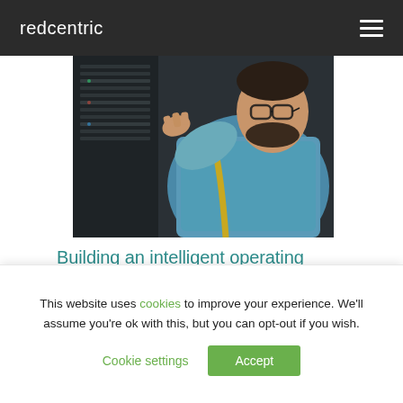redcentric
[Figure (photo): A bearded man wearing glasses and a blue sweater working with server/network equipment in a dark room, viewed from behind/side angle.]
Building an intelligent operating model for the future: The importance of looking ahead
This website uses cookies to improve your experience. We'll assume you're ok with this, but you can opt-out if you wish.
Cookie settings  Accept